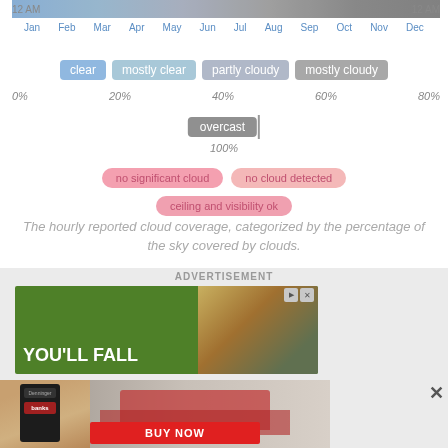[Figure (infographic): Cloud coverage legend chart showing color bands for clear, mostly clear, partly cloudy, mostly cloudy, and overcast categories with percentage scale from 0% to 100%, plus pink legend items for no significant cloud, no cloud detected, and ceiling and visibility ok]
The hourly reported cloud coverage, categorized by the percentage of the sky covered by clouds.
[Figure (photo): Advertisement banner with green background showing YOU'LL FALL text and photo of a truck, plus a product photo of a diagnostic device held in a hand in front of a red Ford truck with BUY NOW button]